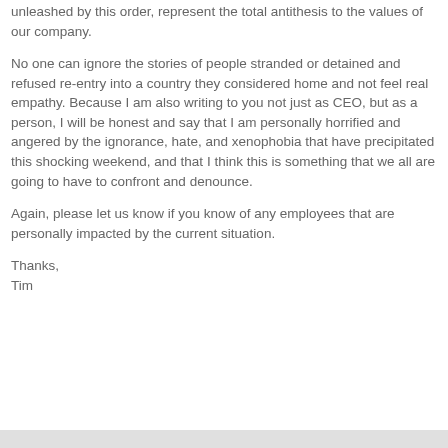unleashed by this order, represent the total antithesis to the values of our company.
No one can ignore the stories of people stranded or detained and refused re-entry into a country they considered home and not feel real empathy. Because I am also writing to you not just as CEO, but as a person, I will be honest and say that I am personally horrified and angered by the ignorance, hate, and xenophobia that have precipitated this shocking weekend, and that I think this is something that we all are going to have to confront and denounce.
Again, please let us know if you know of any employees that are personally impacted by the current situation.
Thanks,
Tim